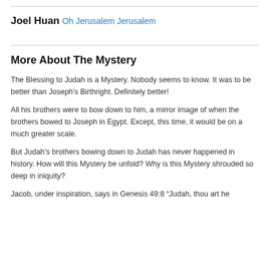Joel Huan
Oh Jerusalem Jerusalem
More About The Mystery
The Blessing to Judah is a Mystery. Nobody seems to know. It was to be better than Joseph's Birthright. Definitely better!
All his brothers were to bow down to him, a mirror image of when the brothers bowed to Joseph in Egypt. Except, this time, it would be on a much greater scale.
But Judah's brothers bowing down to Judah has never happened in history. How will this Mystery be unfold? Why is this Mystery shrouded so deep in iniquity?
Jacob, under inspiration, says in Genesis 49:8 “Judah, thou art he